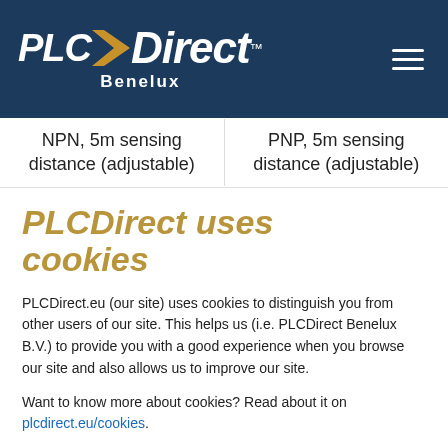[Figure (logo): PLCDirect Benelux logo on dark navy blue header background with hamburger menu icon]
NPN, 5m sensing distance (adjustable)
PNP, 5m sensing distance (adjustable)
PLCDirect uses cookies
PLCDirect.eu (our site) uses cookies to distinguish you from other users of our site. This helps us (i.e. PLCDirect Benelux B.V.) to provide you with a good experience when you browse our site and also allows us to improve our site.
Want to know more about cookies? Read about it on plcdirect.eu/cookies.
Agree, I accept cookies